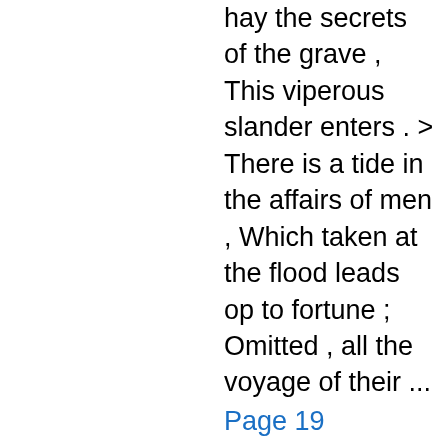hay the secrets of the grave , This viperous slander enters . > There is a tide in the affairs of men , Which taken at the flood leads op to fortune ; Omitted , all the voyage of their ...
Page 19
A DERVISE travelling through Tartary , being arrived at the town of Balk , went into the king's palace by mistake , as thinking it to be a public inn or caravansary , Having looked about him for some time , he entered into a long ...
Page 20
The king replied his ancestors . · And who , says the Dervise , was the last person that